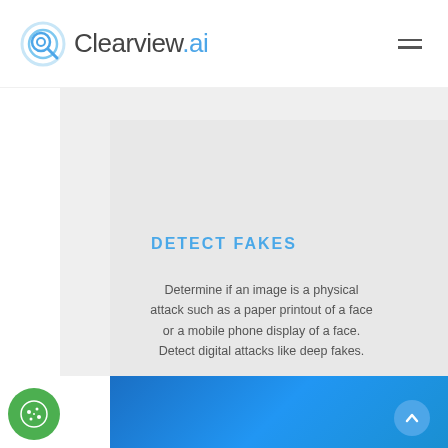[Figure (logo): Clearview.ai logo with circular magnifying glass icon in blue and gray, followed by brand name Clearview.ai in dark and blue text, and a hamburger menu icon on the right]
[Figure (illustration): Large light gray background card/panel area representing a feature illustration placeholder]
DETECT FAKES
Determine if an image is a physical attack such as a paper printout of a face or a mobile phone display of a face. Detect digital attacks like deep fakes.
[Figure (other): Blue gradient footer strip at the bottom of the page]